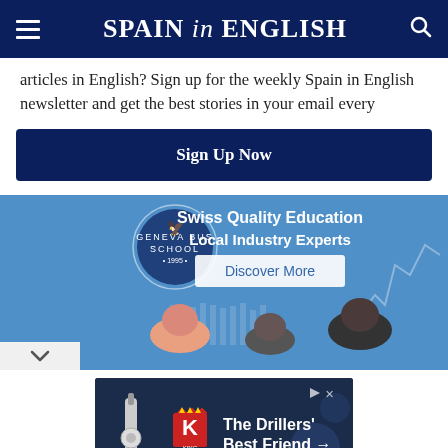SPAIN in ENGLISH
articles in English? Sign up for the weekly Spain in English newsletter and get the best stories in your email every
Sign Up Now
[Figure (photo): Advertisement for Geneva Business School showing students wearing masks with text 'Swiss Quality Education Local Industry Experts' and a 'Discover More' button on a blue background]
[Figure (photo): Advertisement for King Oil Tools showing 'The Drillers' Best Friend' with logo and arrow]